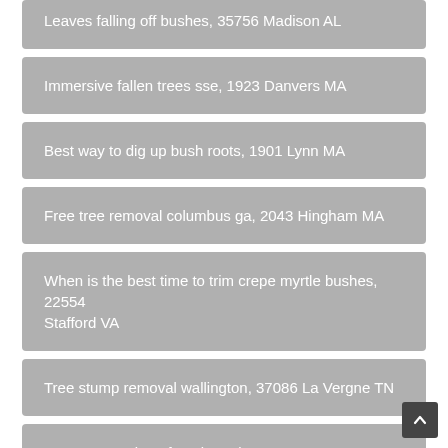Leaves falling off bushes, 35756 Madison AL
Immersive fallen trees sse, 1923 Danvers MA
Best way to dig up bush roots, 1901 Lynn MA
Free tree removal columbus ga, 2043 Hingham MA
When is the best time to trim crepe myrtle bushes, 22554 Stafford VA
Tree stump removal wallington, 37086 La Vergne TN
Summer pruning of apple and pear trees, 2043 Hingham MA